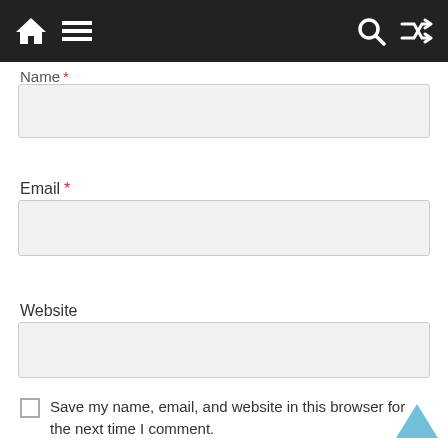Navigation bar with home, menu, search, and shuffle icons
Name *
[Figure (screenshot): Empty text input field for Name]
Email *
[Figure (screenshot): Empty text input field for Email]
Website
[Figure (screenshot): Empty text input field for Website]
Save my name, email, and website in this browser for the next time I comment.